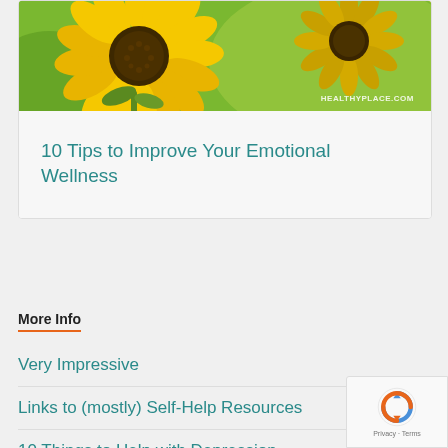[Figure (photo): Sunflower photo with HEALTHYPLACE.COM watermark]
10 Tips to Improve Your Emotional Wellness
More Info
Very Impressive
Links to (mostly) Self-Help Resources
10 Things to Help with Depression